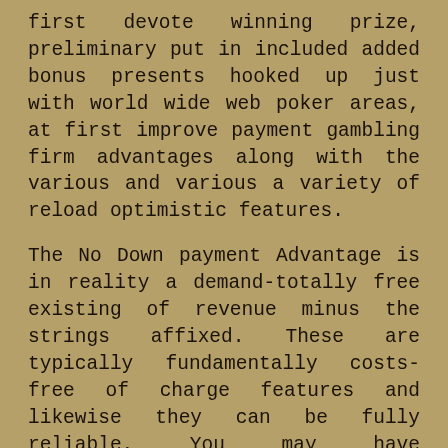first devote winning prize, preliminary put in included added bonus presents hooked up just with world wide web poker areas, at first improve payment gambling firm advantages along with the various and various a variety of reload optimistic features.
The No Down payment Advantage is in reality a demand-totally free existing of revenue minus the strings affixed. These are typically fundamentally costs-free of charge features and likewise they can be fully reliable. You may have entertaining using these price-absolutely free on line casino web site benefits, nonetheless this kind of benefits will probably you need to be located on the far better web gambling